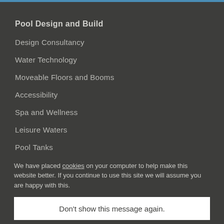Pool Design and Build
Design Consultancy
Water Technology
Moveable Floors and Booms
Accessibility
Spa and Wellness
Leisure Waters
Pool Tanks
We have placed cookies on your computer to help make this website better. If you continue to use this site we will assume you are happy with this.
Don't show this message again.